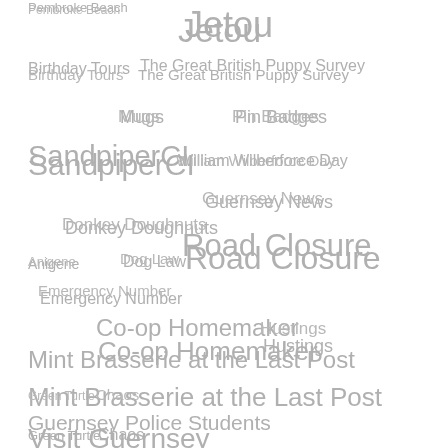[Figure (infographic): Word cloud / tag cloud featuring terms related to Guernsey including: Pembroke Beach, Jetou, Birthday Tours, The Great British Puppy Survey, Mugs, Pin Badges, SandpiperCI, William Wilberforce Day, Guernsey News, Donkey Doughnuts, Anigene, Dog Law, Road Closure, Emergency Number, Co-op Homemaker, Hustings, Mint Brasserie at the Last Post, Green Turtle, Chaos, Guernsey Police Students, Visit Guernsey, Wear a Guernsey, Hanois, Email, St. Andrews, States of Guernsey, Itex Walk, Guernsey Cubs, GSPCA, Donations, Fund raise, Chickens]